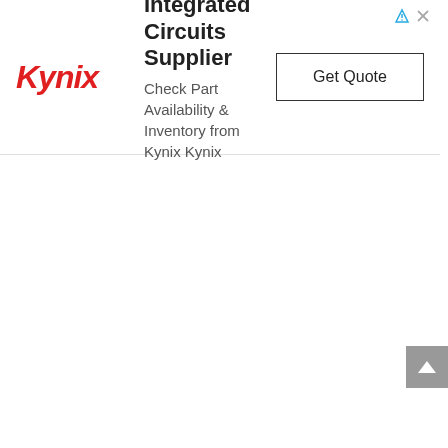[Figure (logo): Kynix logo in red italic bold text]
Integrated Circuits Supplier
Check Part Availability & Inventory from Kynix Kynix
Get Quote